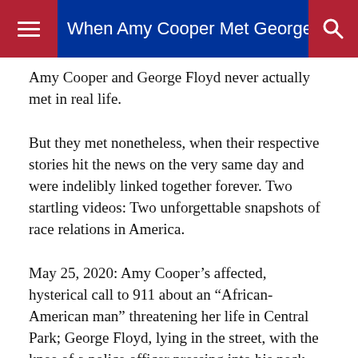When Amy Cooper Met George Floyd
Amy Cooper and George Floyd never actually met in real life.
But they met nonetheless, when their respective stories hit the news on the very same day and were indelibly linked together forever. Two startling videos: Two unforgettable snapshots of race relations in America.
May 25, 2020: Amy Cooper’s affected, hysterical call to 911 about an “African-American man” threatening her life in Central Park; George Floyd, lying in the street, with the knee of a police officer pressing into his neck until he died.